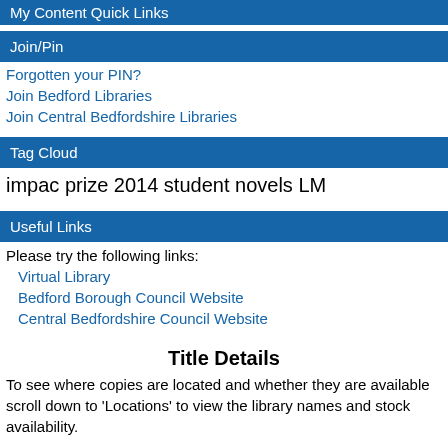My Content Quick Links
Join/Pin
Forgotten your PIN?
Join Bedford Libraries
Join Central Bedfordshire Libraries
Tag Cloud
impac prize 2014 student novels LM
Useful Links
Please try the following links:
Virtual Library
Bedford Borough Council Website
Central Bedfordshire Council Website
Title Details
To see where copies are located and whether they are available scroll down to 'Locations' to view the library names and stock availability.